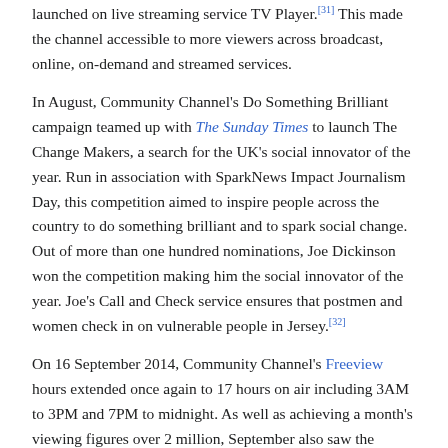launched on live streaming service TV Player.[31] This made the channel accessible to more viewers across broadcast, online, on-demand and streamed services.
In August, Community Channel's Do Something Brilliant campaign teamed up with The Sunday Times to launch The Change Makers, a search for the UK's social innovator of the year. Run in association with SparkNews Impact Journalism Day, this competition aimed to inspire people across the country to do something brilliant and to spark social change. Out of more than one hundred nominations, Joe Dickinson won the competition making him the social innovator of the year. Joe's Call and Check service ensures that postmen and women check in on vulnerable people in Jersey.[32]
On 16 September 2014, Community Channel's Freeview hours extended once again to 17 hours on air including 3AM to 3PM and 7PM to midnight. As well as achieving a month's viewing figures over 2 million, September also saw the highest rated week in channel history with more than a million viewers.
2015